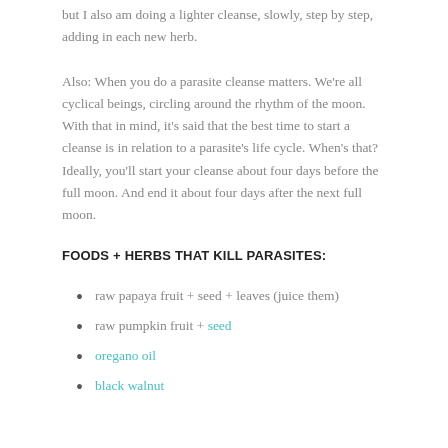but I also am doing a lighter cleanse, slowly, step by step, adding in each new herb.
Also: When you do a parasite cleanse matters. We're all cyclical beings, circling around the rhythm of the moon. With that in mind, it's said that the best time to start a cleanse is in relation to a parasite's life cycle. When's that? Ideally, you'll start your cleanse about four days before the full moon. And end it about four days after the next full moon.
FOODS + HERBS THAT KILL PARASITES:
raw papaya fruit + seed + leaves (juice them)
raw pumpkin fruit + seed
oregano oil
black walnut